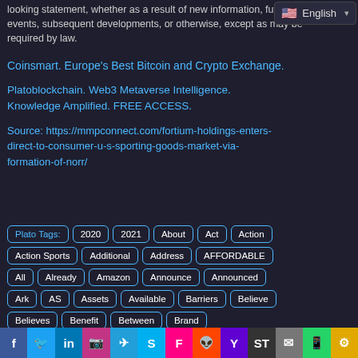looking statement, whether as a result of new information, future events, subsequent developments, or otherwise, except as may be required by law.
English
Coinsmart. Europe's Best Bitcoin and Crypto Exchange.
Platoblockchain. Web3 Metaverse Intelligence. Knowledge Amplified. FREE ACCESS.
Source: https://mmpconnect.com/fortium-holdings-enters-direct-to-consumer-u-s-sporting-goods-market-via-formation-of-norr/
Plato Tags: 2020 2021 About Act Action
Action Sports Additional Address AFFORDABLE
All Already Amazon Announce Announced
Ark AS Assets Available Barriers Believe
Believes Benefit Between Brand
f tw in ig tg sk fl rd Y ST mail wa copy